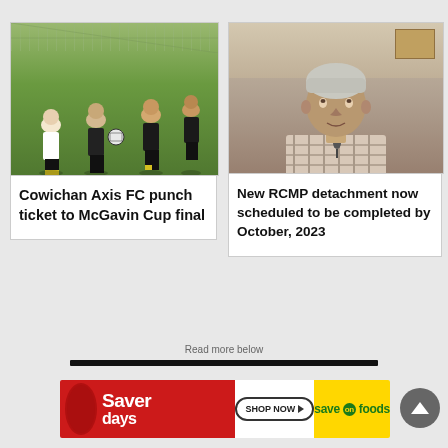[Figure (photo): Soccer players on a green field during a match, with a fence visible in the background]
Cowichan Axis FC punch ticket to McGavin Cup final
[Figure (photo): Portrait of a middle-aged man with grey/white hair wearing a plaid shirt, speaking, with a framed picture on wall behind him]
New RCMP detachment now scheduled to be completed by October, 2023
Read more below
[Figure (other): Save On Foods advertisement banner: Saver Days with Shop Now button and Save On Foods logo on yellow background]